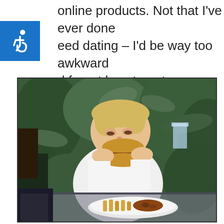online products. Not that I've ever done speed dating – I'd be way too awkward and forget how to eat.
[Figure (photo): A young boy in a white shirt eating a large burger/sandwich at a table with a plate of food (fries and other items) in front of him. Green tropical plants are in the background.]